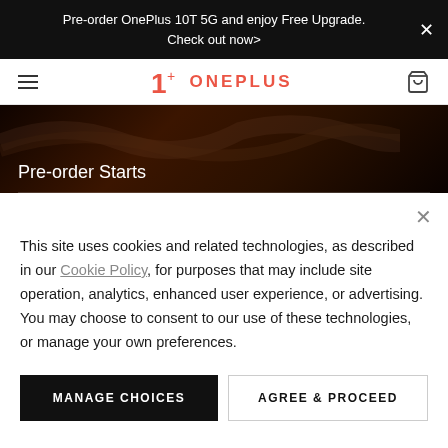Pre-order OnePlus 10T 5G and enjoy Free Upgrade. Check out now>
[Figure (logo): OnePlus logo with hamburger menu and cart icon in navigation bar]
[Figure (photo): Dark smoky abstract hero banner with text 'Pre-order Starts']
This site uses cookies and related technologies, as described in our Cookie Policy, for purposes that may include site operation, analytics, enhanced user experience, or advertising. You may choose to consent to our use of these technologies, or manage your own preferences.
MANAGE CHOICES
AGREE & PROCEED